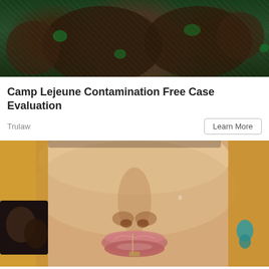[Figure (photo): Dark military-themed image with green overlay showing faces/figures]
Camp Lejeune Contamination Free Case Evaluation
Trulaw
Learn More
[Figure (photo): Close-up photo of a woman's face showing nose, lips, and blonde hair with earrings; smaller inset image visible on the left side]